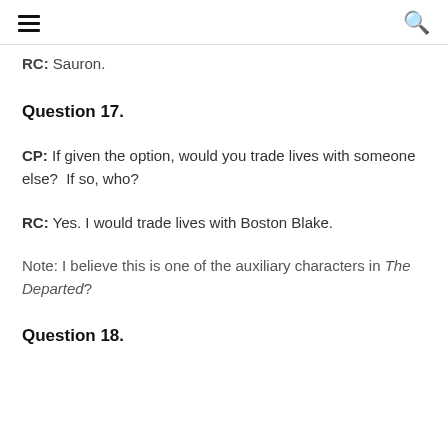≡  🔍
RC: Sauron.
Question 17.
CP: If given the option, would you trade lives with someone else?  If so, who?
RC: Yes. I would trade lives with Boston Blake.
Note: I believe this is one of the auxiliary characters in The Departed?
Question 18.